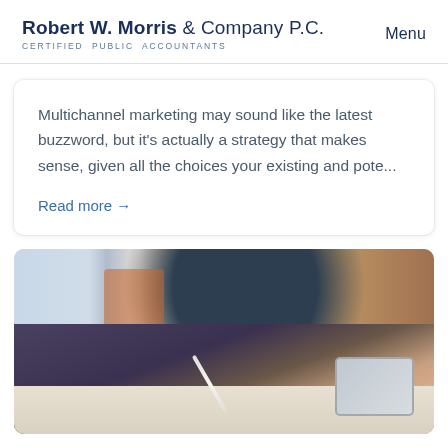Robert W. Morris & Company P.C. CERTIFIED PUBLIC ACCOUNTANTS | Menu
Multichannel marketing may sound like the latest buzzword, but it's actually a strategy that makes sense, given all the choices your existing and pote...
Read more →
[Figure (photo): A person writing or drawing with a stylus pen on paper at a desk, with a tablet device visible in the background. An orange chair is partially visible. The scene is photographed in a modern office or workspace setting.]